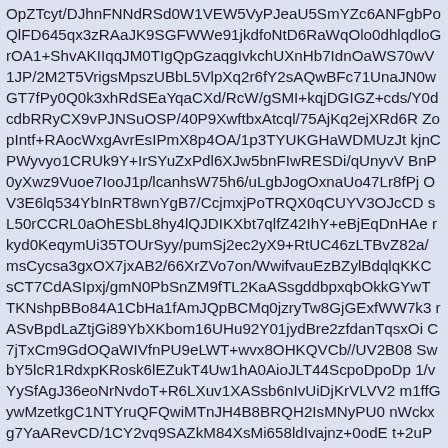OpZTcyt/DJhnFNNdRSd0W1VEW5VyPJeaU5SmYZc6ANFgbPo QlFD645qx3zRAaJK9SGFWWe91jkdfoNtD6RaWqOlo0dhlqdloG rOA1+ShvAKIIqqJM0TIgQpGzaqgIvkchUXnHb7IdnOaWS70wV 1JP/2M2T5VrigsMpszUBbL5VlpXq2r6fY2sAQwBFc71UnaJN0w GT7fPy0Q0k3xhRdSEaYqaCXd/RcW/gSMI+kqjDGIGZ+cds/Y0d cdbRRyCX9vPJNSuOSP/40P9XwftbxAtcql/75AjKq2ejXRd6R ZopIntf+RAocWxgAvrEsIPmX8p4OA/1p3TYUKGHaWDMUzJt kjnCPWyvyo1CRUk9Y+IrSYuZxPdl6XJw5bnFIwRESDi/qUnyvV BnP0yXwz9Vuoe7IooJ1p/lcanhsW75h6/uLgbJogOxnaUo47Lr8fPj OV3E6lq534YbInRT8wnYgB7/CcjmxjPoTRQX0qCUYV3OJcCD sL50rCCRL0aOhESbL8hy4lQJDIKXbt7qlfZ42IhY+eBjEqDnHAe rkyd0KeqymUi35TOUrSyy/pumSj2ec2yX9+RtUC46zLTBvZ82a/ msCycsa3gxOX7jxAB2/66XrZVo7on/WwifvauEzBZylBdqlqKKC sCT7CdASIpxj/gmN0PbSnZM9fTL2KaASsgddbpxqbOkkGYwT TKNshpBBo84A1CbHa1fAmJQpBCMq0jzryTw8GjGExfWW7k3 rASvBpdLaZtjGi89YbXKbom16UHu92Y01jydBre2zfdanTqsxOi C7jTxCm9GdOQaWIVfnPU9eLWT+wvx8OHKQVCb//UV2B08 SwbY5lcR1RdxpKRosk6lEZukT4Uw1hA0AioJLT44ScpoDpoDp 1/vYySfAgJ36eoNrNvdoT+R6LXuv1XASsb6nIvUiDjKrVLVV2 m1ffGywMzetkgC1NTYruQFQwiMTnJH4B8BRQH2IsMNyPU0 nWckxg7YaARevCD/1CY2vq9SAZkM84XsMi658ldIvajnz+0odE t+2uPQg0rvlfR6KRLgTy8mlJX6qUomnZKIdskVn7CUVMe3mW